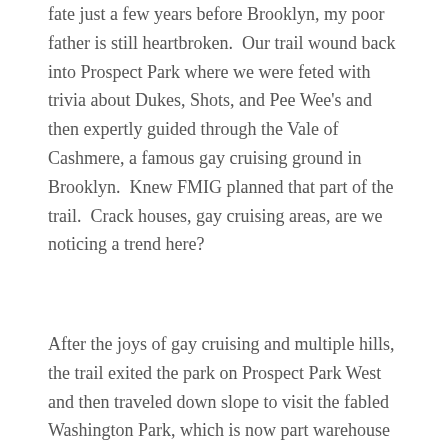fate just a few years before Brooklyn, my poor father is still heartbroken.  Our trail wound back into Prospect Park where we were feted with trivia about Dukes, Shots, and Pee Wee's and then expertly guided through the Vale of Cashmere, a famous gay cruising ground in Brooklyn.  Knew FMIG planned that part of the trail.  Crack houses, gay cruising areas, are we noticing a trend here?
After the joys of gay cruising and multiple hills, the trail exited the park on Prospect Park West and then traveled down slope to visit the fabled Washington Park, which is now part warehouse and part playground.  Washington Field has in fact the oldest baseball stadium related structure still standing in the US, the clubhouse wall along